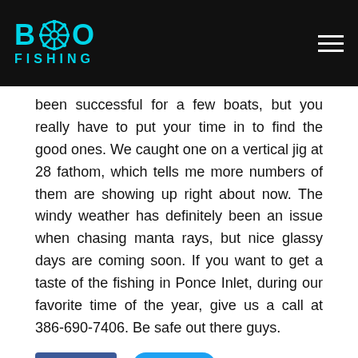BVO FISHING
been successful for a few boats, but you really have to put your time in to find the good ones. We caught one on a vertical jig at 28 fathom, which tells me more numbers of them are showing up right about now. The windy weather has definitely been an issue when chasing manta rays, but nice glassy days are coming soon. If you want to get a taste of the fishing in Ponce Inlet, during our favorite time of the year, give us a call at 386-690-7406. Be safe out there guys.
[Figure (other): Facebook Like button showing count of 1 and a Twitter Tweet button]
0 Comments
NEW SMYRNA BEACH AND